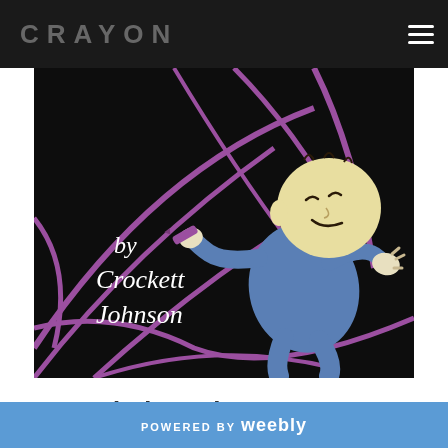CRAYON
[Figure (illustration): Book cover illustration showing a cartoon child in blue pajamas holding a crayon, with purple crayon lines on a black background. Text reads 'by Crockett Johnson' in white italic script.]
Recorded Music
POWERED BY weebly